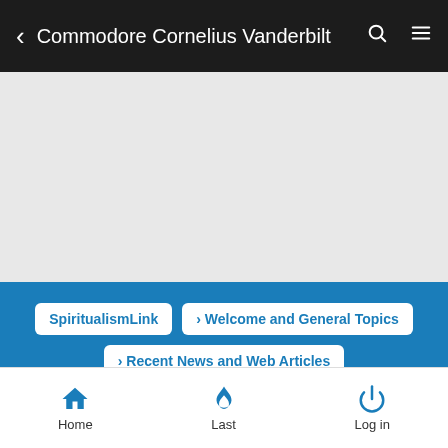Commodore Cornelius Vanderbilt
[Figure (other): Gray advertisement/content placeholder area]
SpiritualismLink > Welcome and General Topics > Recent News and Web Articles
Commodore Cornelius Vanderbilt
Home  Last  Log in